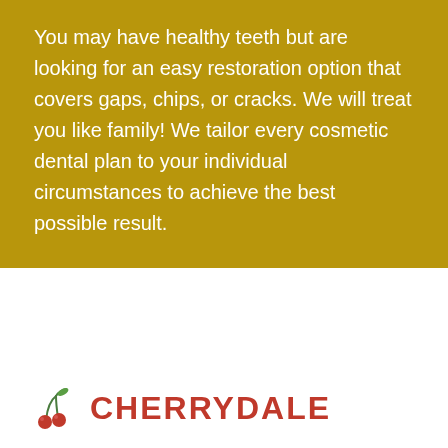You may have healthy teeth but are looking for an easy restoration option that covers gaps, chips, or cracks. We will treat you like family! We tailor every cosmetic dental plan to your individual circumstances to achieve the best possible result.
[Figure (logo): Cherrydale dental logo with cherry branch icon and red bold uppercase brand name text]